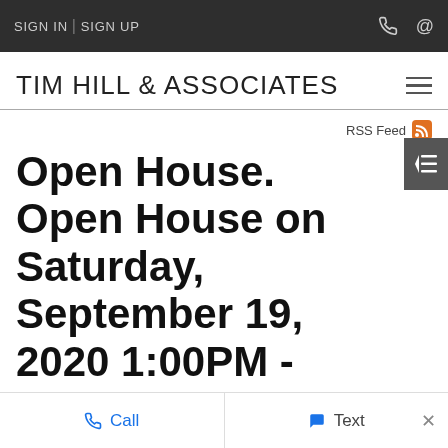SIGN IN | SIGN UP
TIM HILL & ASSOCIATES
RSS Feed
Open House. Open House on Saturday, September 19, 2020 1:00PM - 2:30PM
Posted on September 19, 2020 by Tim Hill
Call   Text